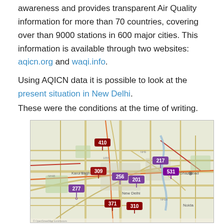awareness and provides transparent Air Quality information for more than 70 countries, covering over than 9000 stations in 600 major cities. This information is available through two websites: aqicn.org and waqi.info.
Using AQICN data it is possible to look at the present situation in New Delhi.
These were the conditions at the time of writing.
[Figure (map): Air quality map of New Delhi region showing monitoring stations with AQI values: 410 (dark red, northwest), 309 (dark red, central-west), 256 (purple, central), 201 (purple, central), 217 (purple, northeast), 531 (purple, east), 277 (purple, southwest), 371 (dark red, south-central), 310 (dark red, south), labeled locations include New Delhi, Ghaziabad, Noida, Karol Bagh]